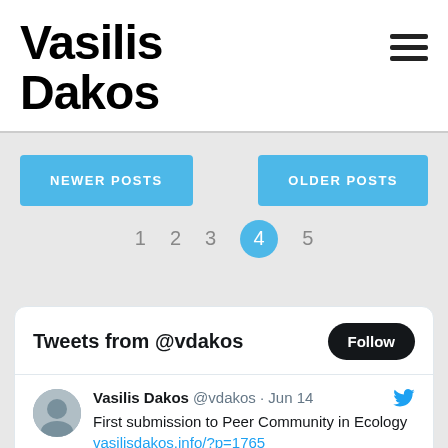Vasilis Dakos
[Figure (other): Hamburger menu icon (three horizontal lines)]
NEWER POSTS
OLDER POSTS
1   2   3   4   5  (page 4 active)
Tweets from @vdakos
Follow
Vasilis Dakos @vdakos · Jun 14
First submission to Peer Community in Ecology vasilisdakos.info/?p=1765